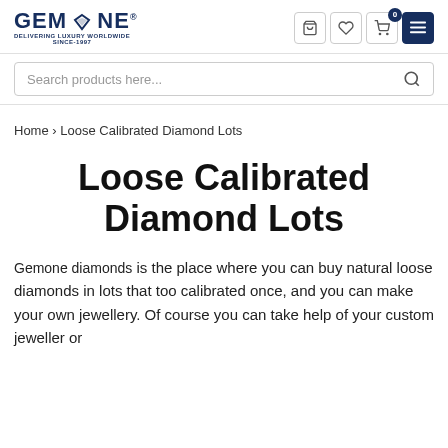GEMONE - DELIVERING LUXURY WORLDWIDE SINCE-1997
Search products here...
Home › Loose Calibrated Diamond Lots
Loose Calibrated Diamond Lots
Gemone diamonds is the place where you can buy natural loose diamonds in lots that too calibrated once, and you can make your own jewellery. Of course you can take help of your custom jeweller or